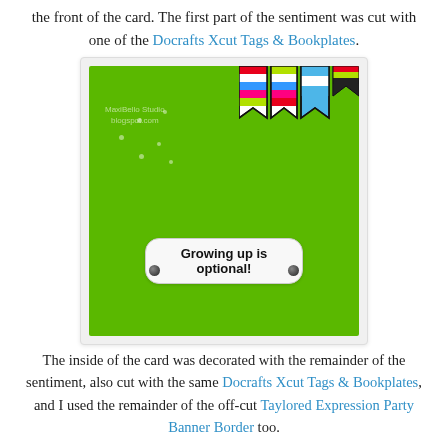the front of the card. The first part of the sentiment was cut with one of the Docrafts Xcut Tags & Bookplates.
[Figure (photo): Photo of a green card decorated with a white rounded-rectangle tag reading 'Growing up is optional!' with two dark gem embellishments, and colorful striped paper banner flags in the top-right corner. A watermark reads 'MaxiBelloStudio blogspot.com'.]
The inside of the card was decorated with the remainder of the sentiment, also cut with the same Docrafts Xcut Tags & Bookplates, and I used the remainder of the off-cut Taylored Expression Party Banner Border too.